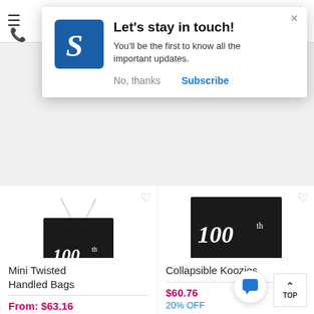[Figure (screenshot): Mobile website screenshot showing a notification popup and product listing page for personalized party supplies]
Let's stay in touch!
You'll be the first to know all the important updates.
No, thanks
Subscribe
Mini Twisted Handled Bags
From: $63.16
20% OFF
Collapsible Koozies
$60.76
20% OFF